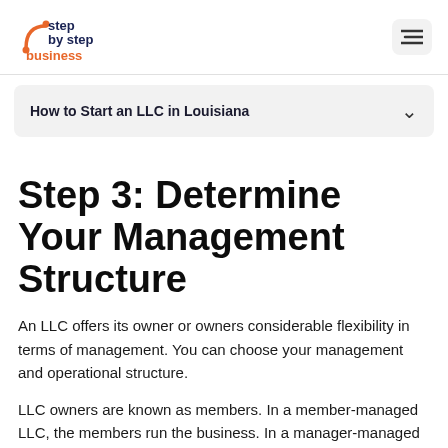step by step business
How to Start an LLC in Louisiana
Step 3: Determine Your Management Structure
An LLC offers its owner or owners considerable flexibility in terms of management. You can choose your management and operational structure.
LLC owners are known as members. In a member-managed LLC, the members run the business. In a manager-managed LLC, non-members are hired to